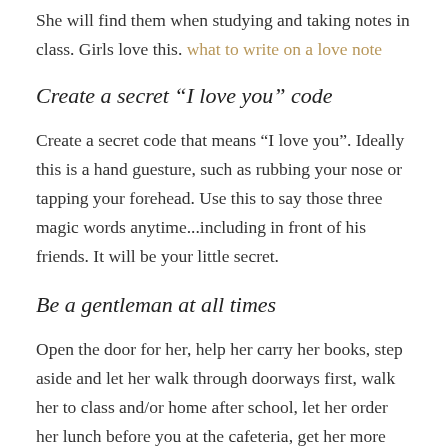She will find them when studying and taking notes in class. Girls love this. what to write on a love note
Create a secret “I love you” code
Create a secret code that means “I love you”. Ideally this is a hand guesture, such as rubbing your nose or tapping your forehead. Use this to say those three magic words anytime...including in front of his friends. It will be your little secret.
Be a gentleman at all times
Open the door for her, help her carry her books, step aside and let her walk through doorways first, walk her to class and/or home after school, let her order her lunch before you at the cafeteria, get her more